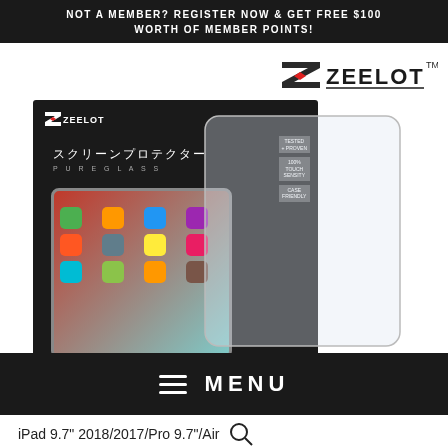NOT A MEMBER? REGISTER NOW & GET FREE $100 WORTH OF MEMBER POINTS!
[Figure (logo): ZEELOT brand logo with stylized Z and TM mark]
[Figure (photo): Zeelot Pure Glass screen protector product box showing iPad Pro with Japanese text and a transparent glass sheet beside the box]
≡  MENU
iPad 9.7" 2018/2017/Pro 9.7"/Air